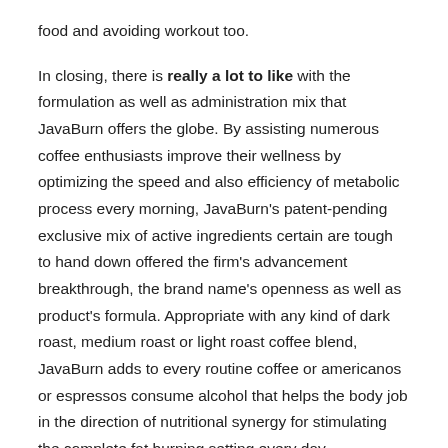food and avoiding workout too.
In closing, there is really a lot to like with the formulation as well as administration mix that JavaBurn offers the globe. By assisting numerous coffee enthusiasts improve their wellness by optimizing the speed and also efficiency of metabolic process every morning, JavaBurn's patent-pending exclusive mix of active ingredients certain are tough to hand down offered the firm's advancement breakthrough, the brand name's openness as well as product's formula. Appropriate with any kind of dark roast, medium roast or light roast coffee blend, JavaBurn adds to every routine coffee or americanos or espressos consume alcohol that helps the body job in the direction of nutritional synergy for stimulating the complete fat burning setting every day.
Associate Disclosure:.
The links included in this item testimonial might cause a tiny